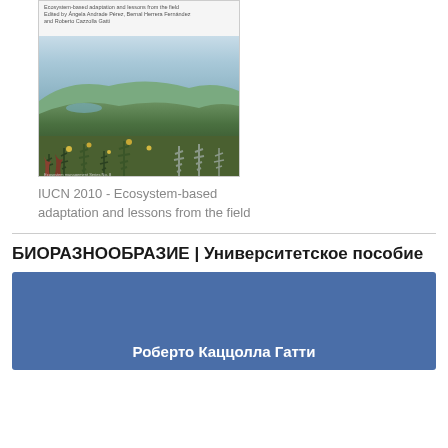[Figure (photo): Book cover of IUCN 2010 - Ecosystem-based adaptation and lessons from the field, showing a landscape photograph of highland vegetation with mountains in the background]
IUCN 2010 - Ecosystem-based adaptation and lessons from the field
БИОРАЗНООБРАЗИЕ | Университетское пособие
[Figure (illustration): Blue card/banner with author name Роберто Каццолла Гатти in white bold text]